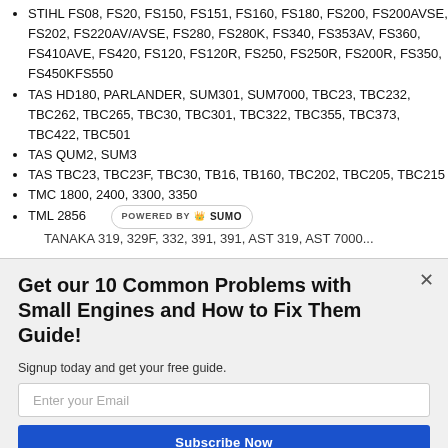STIHL FS08, FS20, FS150, FS151, FS160, FS180, FS200, FS200AVSE, FS202, FS220AV/AVSE, FS280, FS280K, FS340, FS353AV, FS360, FS410AVE, FS420, FS120, FS120R, FS250, FS250R, FS200R, FS350, FS450KFS550
TAS HD180, PARLANDER, SUM301, SUM7000, TBC23, TBC232, TBC262, TBC265, TBC30, TBC301, TBC322, TBC355, TBC373, TBC422, TBC501
TAS QUM2, SUM3
TAS TBC23, TBC23F, TBC30, TB16, TB160, TBC202, TBC205, TBC215
TMC 1800, 2400, 3300, 3350
TML 2856
TANAKA 319, 329F, 332, 391, 391, AST 319, AST 7000...
Get our 10 Common Problems with Small Engines and How to Fix Them Guide!
Signup today and get your free guide.
Enter your Email
Subscribe Now